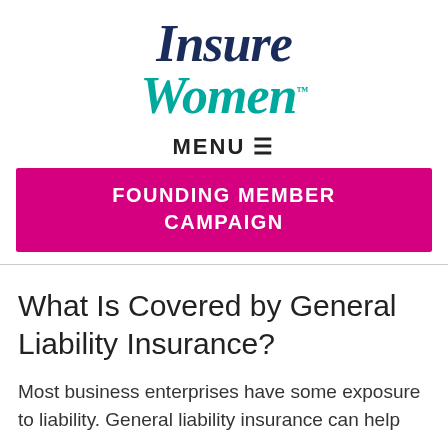[Figure (logo): InsureWomen logo with 'Insure' in dark navy italic and 'Women' in teal italic with trademark symbol]
MENU ≡
FOUNDING MEMBER CAMPAIGN
What Is Covered by General Liability Insurance?
Most business enterprises have some exposure to liability. General liability insurance can help